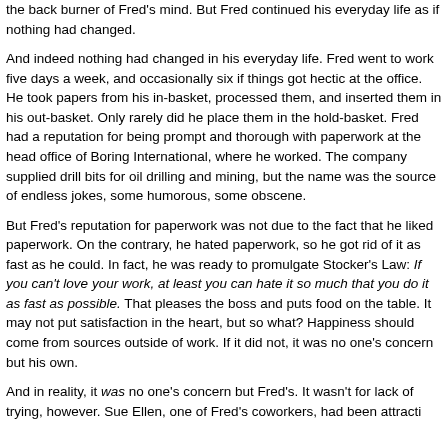the back burner of Fred's mind. But Fred continued his everyday life as if nothing had changed.

And indeed nothing had changed in his everyday life. Fred went to work five days a week, and occasionally six if things got hectic at the office. He took papers from his in-basket, processed them, and inserted them in his out-basket. Only rarely did he place them in the hold-basket. Fred had a reputation for being prompt and thorough with paperwork at the head office of Boring International, where he worked. The company supplied drill bits for oil drilling and mining, but the name was the source of endless jokes, some humorous, some obscene.

But Fred's reputation for paperwork was not due to the fact that he liked paperwork. On the contrary, he hated paperwork, so he got rid of it as fast as he could. In fact, he was ready to promulgate Stocker's Law: If you can't love your work, at least you can hate it so much that you do it as fast as possible. That pleases the boss and puts food on the table. It may not put satisfaction in the heart, but so what? Happiness should come from sources outside of work. If it did not, it was no one's concern but his own.

And in reality, it was no one's concern but Fred's. It wasn't for lack of trying, however. Sue Ellen, one of Fred's coworkers, had been attracti